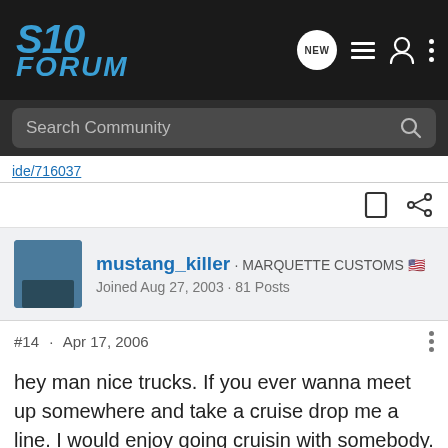S10 Forum
Search Community
ide/716037
mustang_killer · MARQUETTE CUSTOMS 🇺🇸
Joined Aug 27, 2003 · 81 Posts
#14 · Apr 17, 2006
hey man nice trucks. If you ever wanna meet up somewhere and take a cruise drop me a line. I would enjoy going cruisin with somebody. I have 2 trucks so. Let me know. Thanks rich